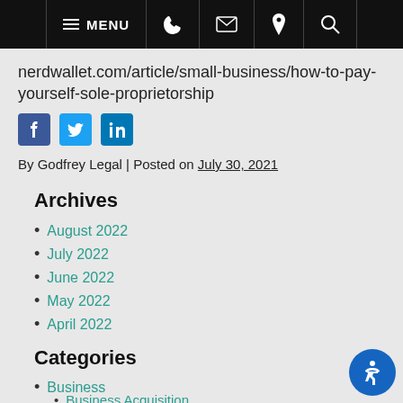MENU navigation bar with phone, email, location, search icons
nerdwallet.com/article/small-business/how-to-pay-yourself-sole-proprietorship
[Figure (other): Social share icons: Facebook, Twitter, LinkedIn]
By Godfrey Legal | Posted on July 30, 2021
Archives
August 2022
July 2022
June 2022
May 2022
April 2022
Categories
Business
Business Acquisition
Business Formation